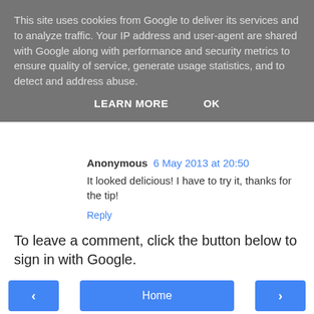This site uses cookies from Google to deliver its services and to analyze traffic. Your IP address and user-agent are shared with Google along with performance and security metrics to ensure quality of service, generate usage statistics, and to detect and address abuse.
LEARN MORE   OK
Anonymous  6 May 2013 at 20:50
It looked delicious! I have to try it, thanks for the tip!
Reply
To leave a comment, click the button below to sign in with Google.
SIGN IN WITH GOOGLE
‹  Home  ›